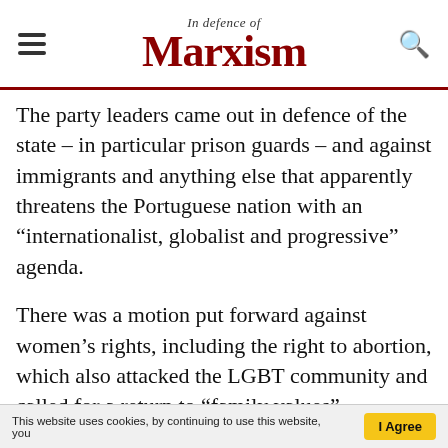In Defence of Marxism
The party leaders came out in defence of the state – in particular prison guards – and against immigrants and anything else that apparently threatens the Portuguese nation with an “internationalist, globalist and progressive” agenda.
There was a motion put forward against women’s rights, including the right to abortion, which also attacked the LGBT community and called for a return to “family values”.
But the most vicious attack was reserved for the communists, as one motion called for any party with a Marxist ideology to be made illegal in
This website uses cookies, by continuing to use this website, you